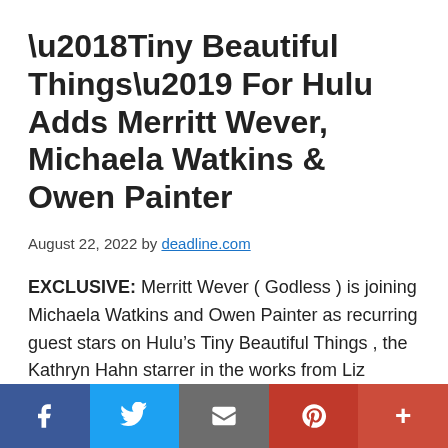‘Tiny Beautiful Things’ For Hulu Adds Merritt Wever, Michaela Watkins & Owen Painter
August 22, 2022 by deadline.com
EXCLUSIVE: Merritt Wever ( Godless ) is joining Michaela Watkins and Owen Painter as recurring guest stars on Hulu’s Tiny Beautiful Things , the Kathryn Hahn starrer in the works from Liz Tigelaar that’s based on Cheryl Strayed ’s New York Times bestseller. Wever plays Frankie, the resilient and
[Figure (infographic): Social sharing bar with Facebook, Twitter, Email, Pinterest, and More buttons]